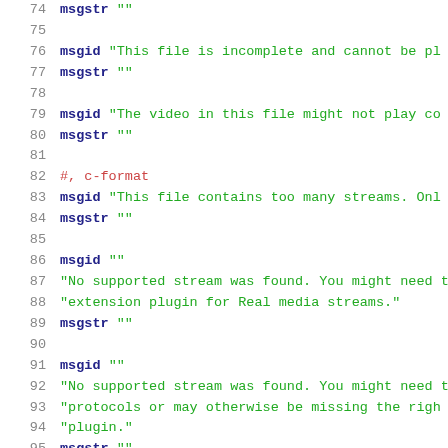Source code listing showing .po file entries, lines 74-95
74    msgstr ""
75
76    msgid "This file is incomplete and cannot be pl...
77    msgstr ""
78
79    msgid "The video in this file might not play co...
80    msgstr ""
81
82    #, c-format
83    msgid "This file contains too many streams. Onl...
84    msgstr ""
85
86    msgid ""
87    "No supported stream was found. You might need t...
88    "extension plugin for Real media streams."
89    msgstr ""
90
91    msgid ""
92    "No supported stream was found. You might need t...
93    "protocols or may otherwise be missing the righ...
94    "plugin."
95    msgstr ""